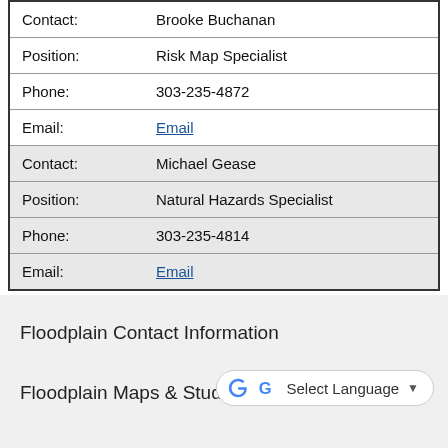| Field | Value |
| --- | --- |
| Contact: | Brooke Buchanan |
| Position: | Risk Map Specialist |
| Phone: | 303-235-4872 |
| Email: | Email |
| Contact: | Michael Gease |
| Position: | Natural Hazards Specialist |
| Phone: | 303-235-4814 |
| Email: | Email |
Floodplain Contact Information
Floodplain Maps & Studies